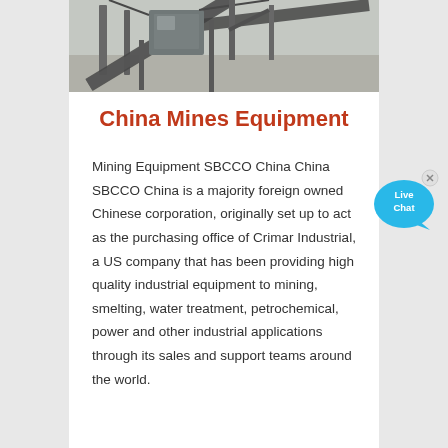[Figure (photo): Mining equipment machinery with conveyor belts and industrial structures at a mining site]
China Mines Equipment
Mining Equipment SBCCO China China SBCCO China is a majority foreign owned Chinese corporation, originally set up to act as the purchasing office of Crimar Industrial, a US company that has been providing high quality industrial equipment to mining, smelting, water treatment, petrochemical, power and other industrial applications through its sales and support teams around the world.
[Figure (illustration): Live Chat button/widget - speech bubble with 'Live Chat' text in blue and orange colors]